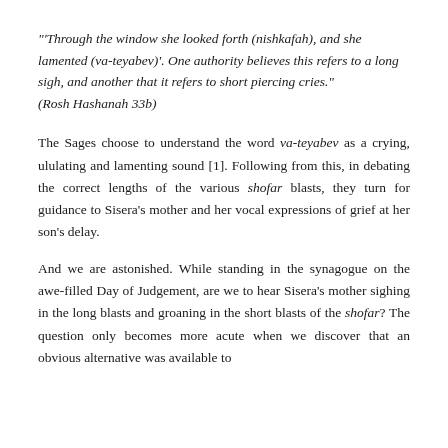"'Through the window she looked forth (nishkafah), and she lamented (va-teyabev)'. One authority believes this refers to a long sigh, and another that it refers to short piercing cries." (Rosh Hashanah 33b)
The Sages choose to understand the word va-teyabev as a crying, ululating and lamenting sound [1]. Following from this, in debating the correct lengths of the various shofar blasts, they turn for guidance to Sisera's mother and her vocal expressions of grief at her son's delay.
And we are astonished. While standing in the synagogue on the awe-filled Day of Judgement, are we to hear Sisera's mother sighing in the long blasts and groaning in the short blasts of the shofar? The question only becomes more acute when we discover that an obvious alternative was available to the Sages from another talmudic authority...